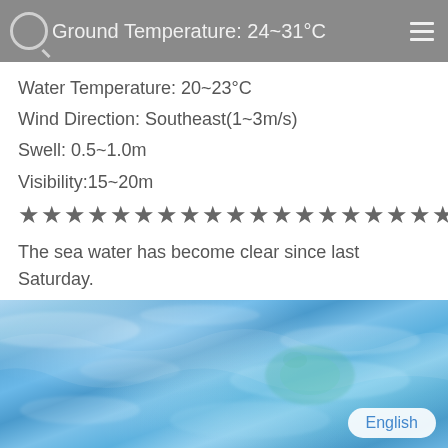Ground Temperature: 24~31°C
Water Temperature: 20~23°C
Wind Direction: Southeast(1~3m/s)
Swell: 0.5~1.0m
Visibility:15~20m
★★★★★★★★★★★★★★★★★★★★
The sea water has become clear since last Saturday.
Today is also clear.
[Figure (photo): Underwater or sea surface photo showing clear blue water with ripples and light refraction, with an English language button overlay in the bottom right corner.]